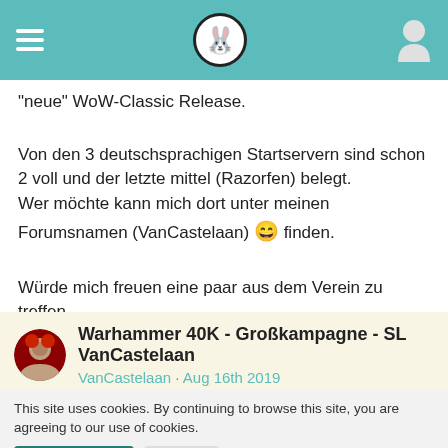[hamburger menu] [logo] [user icon]
"neue" WoW-Classic Release.
Von den 3 deutschsprachigen Startservern sind schon 2 voll und der letzte mittel (Razorfen) belegt.
Wer möchte kann mich dort unter meinen Forumsnamen (VanCastelaan) 😄 finden.
Würde mich freuen eine paar aus dem Verein zu treffen.
Warhammer 40K - Großkampagne - SL VanCastelaan
VanCastelaan · Aug 16th 2019
This site uses cookies. By continuing to browse this site, you are agreeing to our use of cookies.